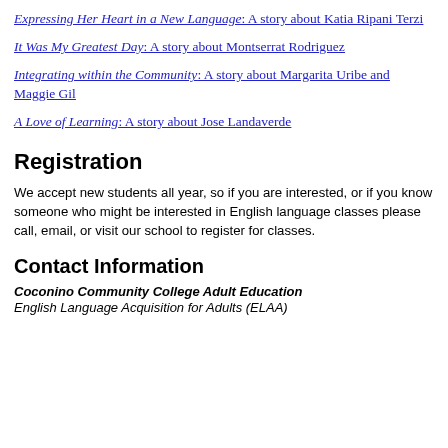Expressing Her Heart in a New Language: A story about Katia Ripani Terzi
It Was My Greatest Day: A story about Montserrat Rodriguez
Integrating within the Community: A story about Margarita Uribe and Maggie Gil
A Love of Learning: A story about Jose Landaverde
Registration
We accept new students all year, so if you are interested, or if you know someone who might be interested in English language classes please call, email, or visit our school to register for classes.
Contact Information
Coconino Community College Adult Education
English Language Acquisition for Adults (ELAA)